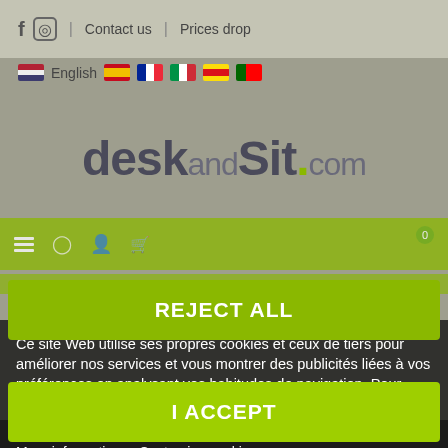f  Instagram  |  Contact us  |  Prices drop
English (flag icons: US, ES, FR, IT, CA, PT)
deskandSit.com
Ce site Web utilise ses propres cookies et ceux de tiers pour améliorer nos services et vous montrer des publicités liées à vos préférences en analysant vos habitudes de navigation. Pour donner votre consentement à son utilisation, appuyez sur le bouton Accepter.
More information   Customize cookies
REJECT ALL
I ACCEPT